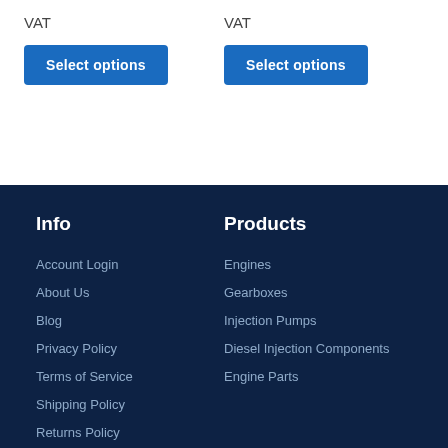VAT
VAT
Select options
Select options
Info
Products
Account Login
About Us
Blog
Privacy Policy
Terms of Service
Shipping Policy
Returns Policy
Warranty Information
Engines
Gearboxes
Injection Pumps
Diesel Injection Components
Engine Parts